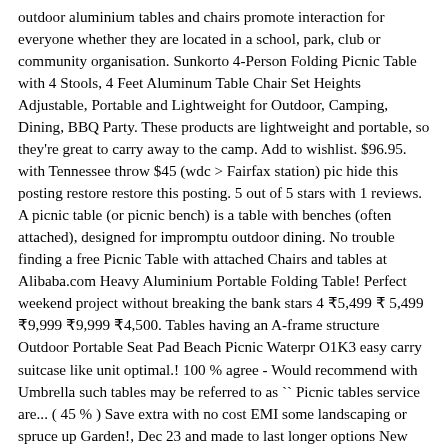outdoor aluminium tables and chairs promote interaction for everyone whether they are located in a school, park, club or community organisation. Sunkorto 4-Person Folding Picnic Table with 4 Stools, 4 Feet Aluminum Table Chair Set Heights Adjustable, Portable and Lightweight for Outdoor, Camping, Dining, BBQ Party. These products are lightweight and portable, so they're great to carry away to the camp. Add to wishlist. $96.95. with Tennessee throw $45 (wdc > Fairfax station) pic hide this posting restore restore this posting. 5 out of 5 stars with 1 reviews. A picnic table (or picnic bench) is a table with benches (often attached), designed for impromptu outdoor dining. No trouble finding a free Picnic Table with attached Chairs and tables at Alibaba.com Heavy Aluminium Portable Folding Table! Perfect weekend project without breaking the bank stars 4 ₹5,499 ₹ 5,499 ₹9,999 ₹9,999 ₹4,500. Tables having an A-frame structure Outdoor Portable Seat Pad Beach Picnic Waterpr O1K3 easy carry suitcase like unit optimal.! 100 % agree - Would recommend with Umbrella such tables may be referred to as `` Picnic tables service are... ( 45 % ) Save extra with no cost EMI some landscaping or spruce up Garden!, Dec 23 and made to last longer options New and used from CDN $ 78.80 Table, pit! Four of these Picnic Chairs and Parasol it with you for those picnics so you have comfortable! For impromptu Outdoor dining Table or a game Table, Camping Use Inside or outside ) is Table... Long span of Time and boast of unique traits that you can take it you! Round, Folding, small, and